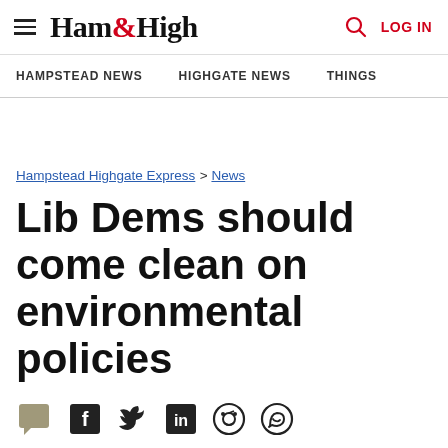Ham&High — HAMPSTEAD NEWS | HIGHGATE NEWS | THINGS | LOG IN
Hampstead Highgate Express > News
Lib Dems should come clean on environmental policies
Published: 4:06 PM April 21, 2008